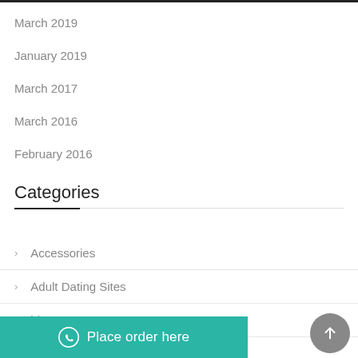March 2019
January 2019
March 2017
March 2016
February 2016
Categories
Accessories
Adult Dating Sites
blog
Place order here